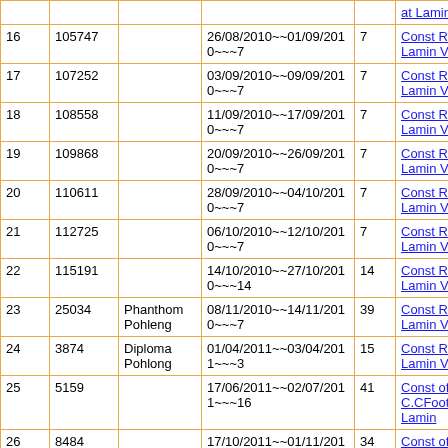| # | ID | Name | Date Range | Days | Description |
| --- | --- | --- | --- | --- | --- |
|  |  |  |  |  | at Lamin VEC |
| 16 | 105747 |  | 26/08/2010~~01/09/2010~~~7 | 7 | Const R/Wall at Lamin VEC |
| 17 | 107252 |  | 03/09/2010~~09/09/2010~~~7 | 7 | Const R/Wall at Lamin VEC |
| 18 | 108558 |  | 11/09/2010~~17/09/2010~~~7 | 7 | Const R/Wall at Lamin VEC |
| 19 | 109868 |  | 20/09/2010~~26/09/2010~~~7 | 7 | Const R/Wall at Lamin VEC |
| 20 | 110611 |  | 28/09/2010~~04/10/2010~~~7 | 7 | Const R/Wall at Lamin VEC |
| 21 | 112725 |  | 06/10/2010~~12/10/2010~~~7 | 7 | Const R/Wall at Lamin VEC |
| 22 | 115191 |  | 14/10/2010~~27/10/2010~~~14 | 14 | Const R/Wall at Lamin VEC |
| 23 | 25034 | Phanthom Pohleng | 08/11/2010~~14/11/2010~~~7 | 39 | Const R/Wall at Lamin VEC |
| 24 | 3874 | Diploma Pohlong | 01/04/2011~~03/04/2011~~~3 | 15 | Const R/Wall at Lamin VEC |
| 25 | 5159 |  | 17/06/2011~~02/07/2011~~~16 | 41 | Const of C.CFootpath at Lamin |
| 26 | 8484 |  | 17/10/2011~~01/11/2011~~16 | 34 | Const of C.CFootpath at Lamin |
| 27 | 15713 |  | 02/11/2011~~17/11/2011~~16 | 48 | Const of C.CFootpath... |